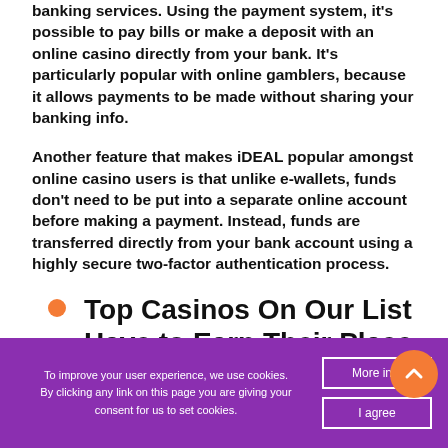banking services. Using the payment system, it's possible to pay bills or make a deposit with an online casino directly from your bank. It's particularly popular with online gamblers, because it allows payments to be made without sharing your banking info.
Another feature that makes iDEAL popular amongst online casino users is that unlike e-wallets, funds don't need to be put into a separate online account before making a payment. Instead, funds are transferred directly from your bank account using a highly secure two-factor authentication process.
Top Casinos On Our List Have to Earn Their Place
To improve your user experience, we use cookies. By clicking any link on this page you are giving your consent for us to set cookies.